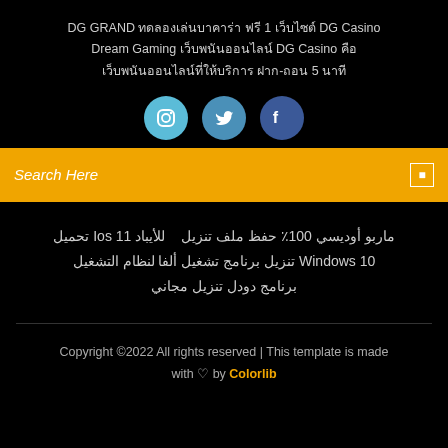DG GRAND ทดลองเล่นบาคาร่า ฟรี 1 เว็บไซต์ DG Casino Dream Gaming เว็บพนันออนไลน์ DG Casino คือ เว็บพนันออนไลน์ที่ให้บริการ ฝาก-ถอน 5 นาที
[Figure (screenshot): Social media icons: Facebook, Twitter, Instagram]
Search Here
ماربو أوديسي 100٪ حفظ ملف تنزيل   للأيباد 11 Ios تحميل Windows 10 تنزيل برنامج تشغيل ألفا لنظام التشغيل برنامج دودل تنزيل مجاني
Copyright ©2022 All rights reserved | This template is made with ♡ by Colorlib